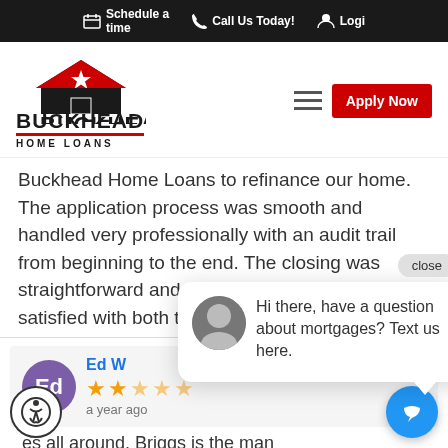Schedule a time | Call Us Today! | Logi
[Figure (logo): Buckhead Home Loans logo with house and star icon, red underline, text BUCKHEAD HOME LOANS]
Buckhead Home Loans to refinance our home. The application process was smooth and handled very professionally with an audit trail from beginning to the end. The closing was straightforward and done quickly. We are very satisfied with both the comp... and their proc...
[Figure (photo): Ed reviewer card with purple avatar showing 'Ed', 2-star rating, 'a year ago' timestamp]
es all around. Briggs is the man
[Figure (screenshot): Chat popup with agent photo: 'Hi there, have a question about mortgages? Text us here.' with close button]